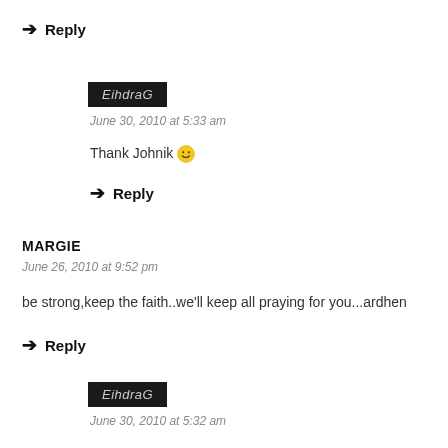→ Reply
EihdraG
June 30, 2010 at 5:33 am
Thank Johnik 🙂
→ Reply
MARGIE
June 26, 2010 at 9:52 pm
be strong,keep the faith..we'll keep all praying for you...ardhen
→ Reply
EihdraG
June 30, 2010 at 5:32 am